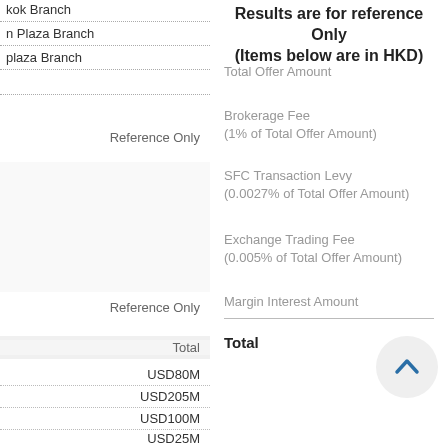kok Branch
n Plaza Branch
plaza Branch
Reference Only
Reference Only
Total
USD80M
USD205M
USD100M
USD25M
Results are for reference Only (Items below are in HKD)
Total Offer Amount
Brokerage Fee (1% of Total Offer Amount)
SFC Transaction Levy (0.0027% of Total Offer Amount)
Exchange Trading Fee (0.005% of Total Offer Amount)
Margin Interest Amount
Total